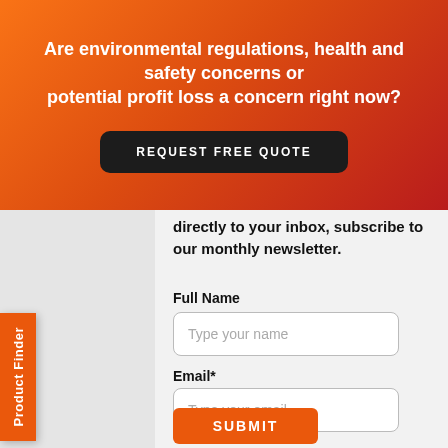Are environmental regulations, health and safety concerns or potential profit loss a concern right now?
REQUEST FREE QUOTE
directly to your inbox, subscribe to our monthly newsletter.
Full Name
Type your name
Email*
Type your email
SUBMIT
Product Finder